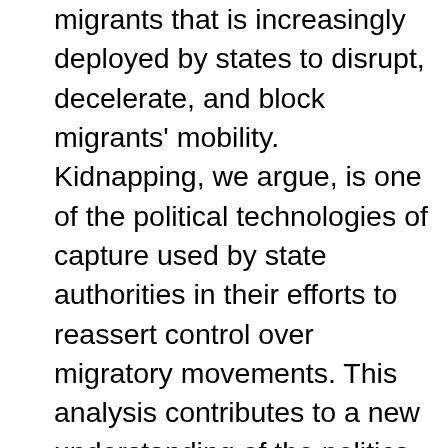migrants that is increasingly deployed by states to disrupt, decelerate, and block migrants' mobility. Kidnapping, we argue, is one of the political technologies of capture used by state authorities in their efforts to reassert control over migratory movements. This analysis contributes to a new understanding of the politics of border enforcement through strategies aimed at the containment of migration. The article focuses on the U.S.–Mexico border and the European border in the Mediterranean Sea as crucial sites where states have increasingly engaged in heterogenous modes of kidnapping.It also considers migrant struggles against these diverse kidnapping tactics. Through a focus on kidnapping, the article expands how we understand border violence and interrogates accounts of the biopolitics and necropolitics of borders that rely on the overly reductive formula of 'making live/letting die'. The article concludes by highlighting how the critical examination of kidnapping migrants allows us to trace affinities and partial continuities among various historical modes of racialised subjugation that have affected the most economically marginalised